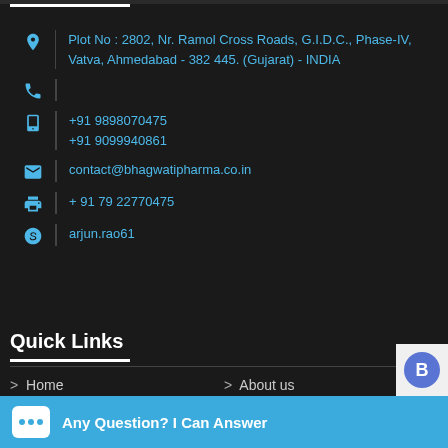Plot No : 2802, Nr. Ramol Cross Roads, G.I.D.C., Phase-IV, Vatva, Ahmedabad - 382 445. (Gujarat) - INDIA
+91 9898070475
+91 9099940861
contact@bhagwatipharma.co.in
+ 91 79 22770475
arjun.rao61
Quick Links
> Home
> About us
Any Question? I Can Answer